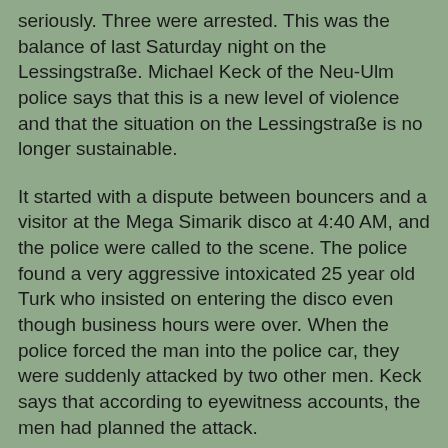seriously. Three were arrested. This was the balance of last Saturday night on the Lessingstraße. Michael Keck of the Neu-Ulm police says that this is a new level of violence and that the situation on the Lessingstraße is no longer sustainable.
It started with a dispute between bouncers and a visitor at the Mega Simarik disco at 4:40 AM, and the police were called to the scene. The police found a very aggressive intoxicated 25 year old Turk who insisted on entering the disco even though business hours were over. When the police forced the man into the police car, they were suddenly attacked by two other men. Keck says that according to eyewitness accounts, the men had planned the attack.
One of the attackers jumped on a police officer from behind. The agent hit his knee on the police car and was so badly injured that he had to go through an operation and will be out of commission for months. Two other officers sustained minor injuries.
The three men were arrested and the situation was under